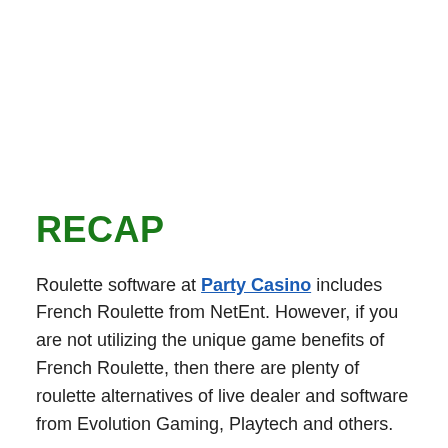RECAP
Roulette software at Party Casino includes French Roulette from NetEnt. However, if you are not utilizing the unique game benefits of French Roulette, then there are plenty of roulette alternatives of live dealer and software from Evolution Gaming, Playtech and others.